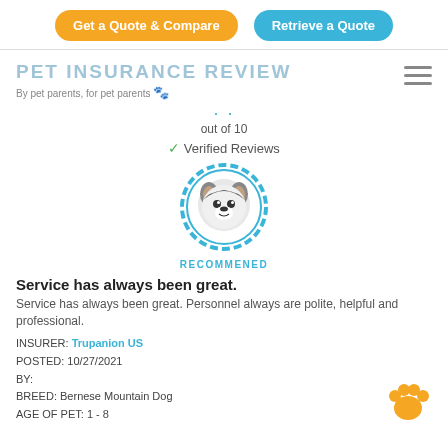[Figure (other): Two buttons: orange 'Get a Quote & Compare' and blue 'Retrieve a Quote']
[Figure (logo): Pet Insurance Review logo with tagline 'By pet parents, for pet parents' and paw icon, plus hamburger menu icon]
out of 10
✓ Verified Reviews
[Figure (illustration): Circular badge with husky dog face illustration and 'RECOMMENED' label in teal]
Service has always been great.
Service has always been great. Personnel always are polite, helpful and professional.
INSURER: Trupanion US
POSTED: 10/27/2021
BY:
BREED: Bernese Mountain Dog
AGE OF PET: 1 - 8
[Figure (illustration): Gold/yellow paw print icon in bottom right corner]